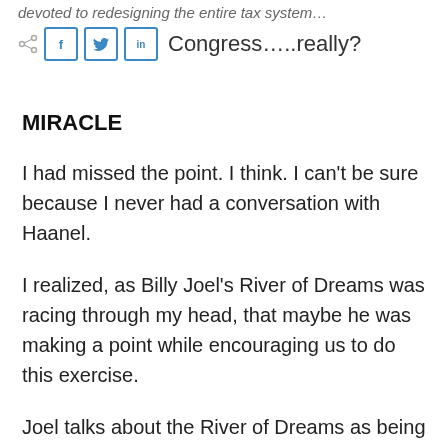…devoted to redesigning the entire tax system…
[Figure (screenshot): Social share buttons row with Facebook, Twitter, LinkedIn icons followed by text 'Congress…..really?']
MIRACLE
I had missed the point.  I think.  I can't be sure because I never had a conversation with Haanel.
I realized, as Billy Joel's River of Dreams was racing through my head, that maybe he was making a point while encouraging us to do this exercise.
Joel talks about the River of Dreams as being